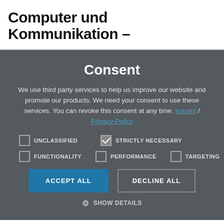Computer und Kommunikation –
Consent
We use third party services to help us improve our website and promote our products. We need your consent to use these services. You can revoke this consent at any time. Imprint / Privacy Policy
UNCLASSIFIED  STRICTLY NECESSARY  FUNCTIONALITY  PERFORMANCE  TARGETING
ACCEPT ALL  DECLINE ALL  SHOW DETAILS